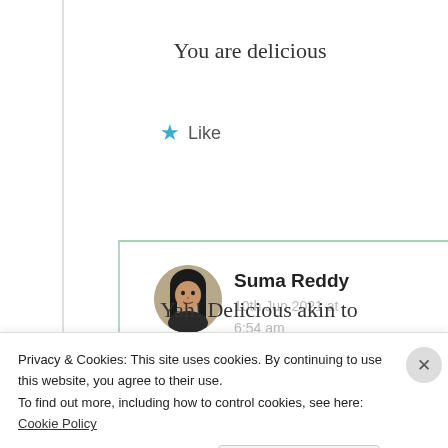You are delicious
★ Like
[Figure (photo): Circular avatar photo of Suma Reddy, a young woman with long dark hair]
Suma Reddy
10th Jun 2021 at 6:54 am
Yah! Delicious akin to
Privacy & Cookies: This site uses cookies. By continuing to use this website, you agree to their use.
To find out more, including how to control cookies, see here: Cookie Policy
Close and accept